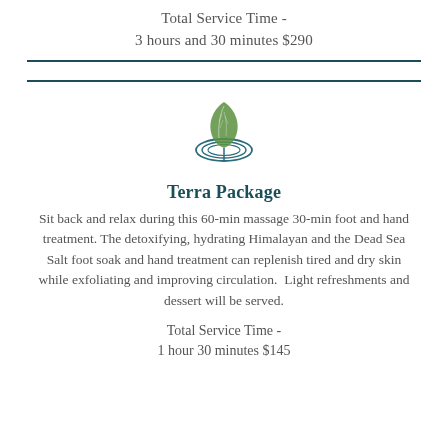Total Service Time -
3 hours and 30 minutes $290
[Figure (logo): Spa/wellness logo with a green leaf shape over a circular water/wave design in teal]
Terra Package
Sit back and relax during this 60-min massage 30-min foot and hand treatment. The detoxifying, hydrating Himalayan and the Dead Sea Salt foot soak and hand treatment can replenish tired and dry skin while exfoliating and improving circulation.  Light refreshments and dessert will be served.
Total Service Time -
1 hour 30 minutes $145